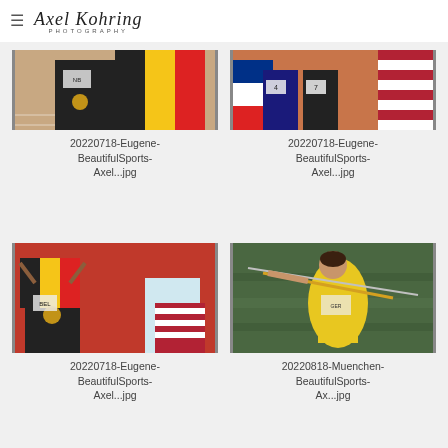Axel Kohring Photography
[Figure (photo): Close-up of athletes torsos showing medals and Belgian flag at track event, Eugene 2022]
20220718-Eugene-BeautifulSports-Axel...jpg
[Figure (photo): Close-up of athletes legs and torsos with Cuban and US flags and medals at track event, Eugene 2022]
20220718-Eugene-BeautifulSports-Axel...jpg
[Figure (photo): Female athletes celebrating with Belgian and US flags and medals at track event, Eugene 2022]
20220718-Eugene-BeautifulSports-Axel...jpg
[Figure (photo): Female javelin thrower in yellow uniform with motion blur background, Munich 2022]
20220818-Muenchen-BeautifulSports-Ax...jpg